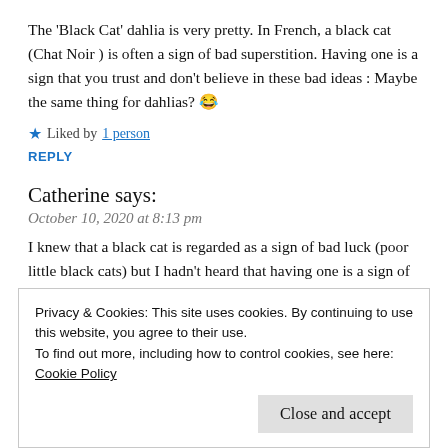The 'Black Cat' dahlia is very pretty. In French, a black cat (Chat Noir ) is often a sign of bad superstition. Having one is a sign that you trust and don't believe in these bad ideas : Maybe the same thing for dahlias? 😂
★ Liked by 1 person
REPLY
Catherine says:
October 10, 2020 at 8:13 pm
I knew that a black cat is regarded as a sign of bad luck (poor little black cats) but I hadn't heard that having one is a sign of trust and that you don't believe the old wives tale. I didn't
Privacy & Cookies: This site uses cookies. By continuing to use this website, you agree to their use.
To find out more, including how to control cookies, see here:
Cookie Policy
Close and accept